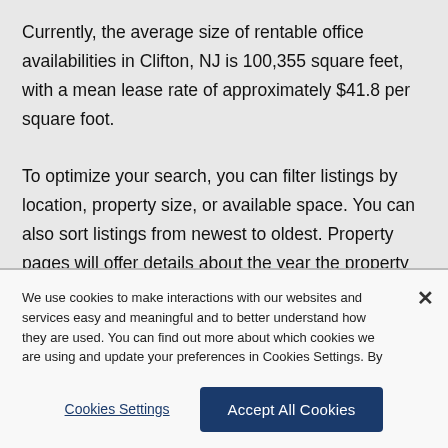Currently, the average size of rentable office availabilities in Clifton, NJ is 100,355 square feet, with a mean lease rate of approximately $41.8 per square foot. To optimize your search, you can filter listings by location, property size, or available space. You can also sort listings from newest to oldest. Property pages will offer details about the year the property was built, as well as
We use cookies to make interactions with our websites and services easy and meaningful and to better understand how they are used. You can find out more about which cookies we are using and update your preferences in Cookies Settings. By clicking “Accept All Cookies,” you are agreeing to our use of cookies. Cookie Notice.
Cookies Settings
Accept All Cookies